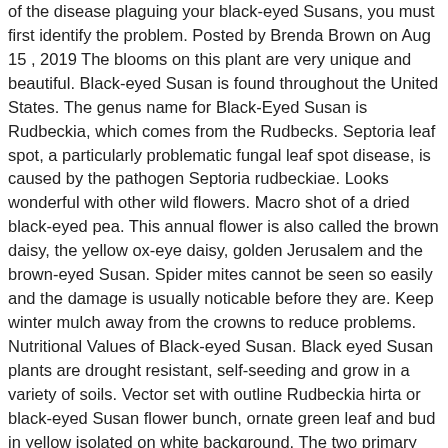of the disease plaguing your black-eyed Susans, you must first identify the problem. Posted by Brenda Brown on Aug 15 , 2019 The blooms on this plant are very unique and beautiful. Black-eyed Susan is found throughout the United States. The genus name for Black-Eyed Susan is Rudbeckia, which comes from the Rudbecks. Septoria leaf spot, a particularly problematic fungal leaf spot disease, is caused by the pathogen Septoria rudbeckiae. Looks wonderful with other wild flowers. Macro shot of a dried black-eyed pea. This annual flower is also called the brown daisy, the yellow ox-eye daisy, golden Jerusalem and the brown-eyed Susan. Spider mites cannot be seen so easily and the damage is usually noticable before they are. Keep winter mulch away from the crowns to reduce problems. Nutritional Values of Black-eyed Susan. Black eyed Susan plants are drought resistant, self-seeding and grow in a variety of soils. Vector set with outline Rudbeckia hirta or black-eyed Susan flower bunch, ornate green leaf and bud in yellow isolated on white background. The two primary pests that prey upon black eyed susans are aphids and the